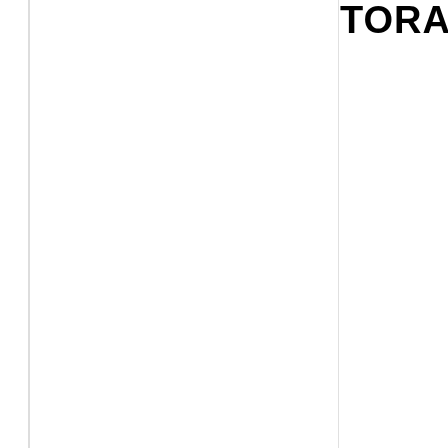TORAYA
Source: omotesandohills
*Click photo to enlar
TORAYA CAFÉ (D years ago. They
■ Locations: Ror